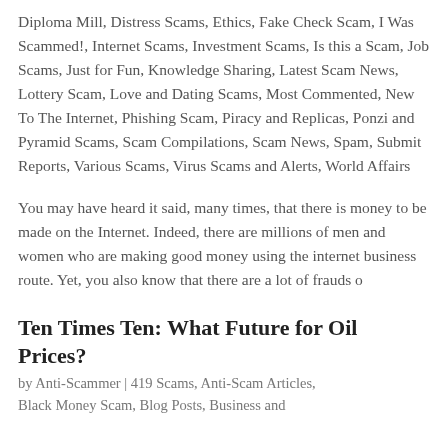Diploma Mill, Distress Scams, Ethics, Fake Check Scam, I Was Scammed!, Internet Scams, Investment Scams, Is this a Scam, Job Scams, Just for Fun, Knowledge Sharing, Latest Scam News, Lottery Scam, Love and Dating Scams, Most Commented, New To The Internet, Phishing Scam, Piracy and Replicas, Ponzi and Pyramid Scams, Scam Compilations, Scam News, Spam, Submit Reports, Various Scams, Virus Scams and Alerts, World Affairs
You may have heard it said, many times, that there is money to be made on the Internet. Indeed, there are millions of men and women who are making good money using the internet business route. Yet, you also know that there are a lot of frauds o
Ten Times Ten: What Future for Oil Prices?
by Anti-Scammer | 419 Scams, Anti-Scam Articles, Black Money Scam, Blog Posts, Business and